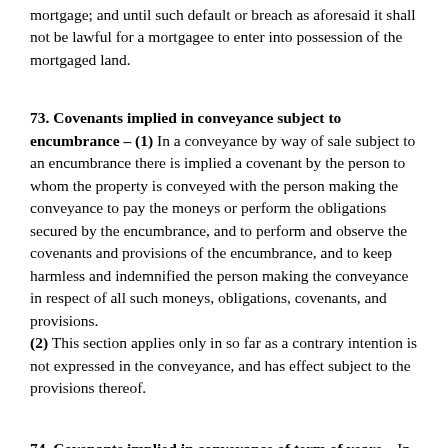mortgage; and until such default or breach as aforesaid it shall not be lawful for a mortgagee to enter into possession of the mortgaged land.
73. Covenants implied in conveyance subject to encumbrance – (1)
In a conveyance by way of sale subject to an encumbrance there is implied a covenant by the person to whom the property is conveyed with the person making the conveyance to pay the moneys or perform the obligations secured by the encumbrance, and to perform and observe the covenants and provisions of the encumbrance, and to keep harmless and indemnified the person making the conveyance in respect of all such moneys, obligations, covenants, and provisions. (2) This section applies only in so far as a contrary intention is not expressed in the conveyance, and has effect subject to the provisions thereof.
74. Covenants implied in conveyance of term of years –
In a conveyance of a term of years in land by way of sale or marriage settlement, and in any other conveyance of a term of years in land for valuable consideration, not being by way of